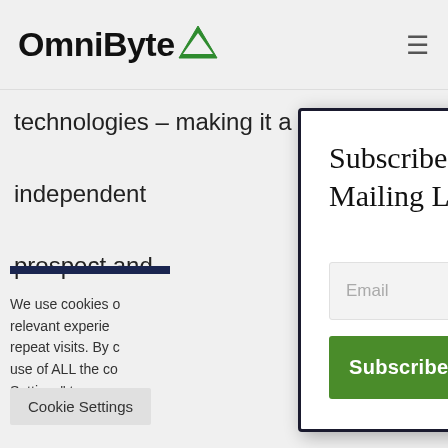OmniByte
technologies – making it a flexible and independent prospect and
We use cookies o relevant experie repeat visits. By c use of ALL the co Settings" to prov
Cookie Settings
Subscribe to Our Mailing List
Email
Subscribe